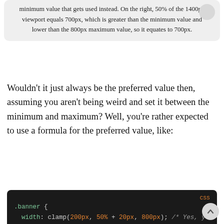minimum value that gets used instead. On the right, 50% of the 1400px viewport equals 700px, which is greater than the minimum value and lower than the 800px maximum value, so it equates to 700px.
Wouldn't it just always be the preferred value then, assuming you aren't being weird and set it between the minimum and maximum? Well, you're rather expected to use a formula for the preferred value, like:
[Figure (screenshot): Dark code block showing CSS snippet: .banner { width: clamp(200px, 50% + 20px, 800px); /* Yes, you ... } with CSS label in top right corner]
Say you want to set an element's minimum font-size to 1rem when the viewport width is 360px or